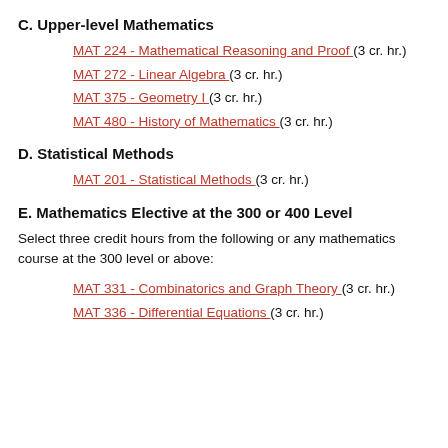C. Upper-level Mathematics
MAT 224 - Mathematical Reasoning and Proof (3 cr. hr.)
MAT 272 - Linear Algebra (3 cr. hr.)
MAT 375 - Geometry I (3 cr. hr.)
MAT 480 - History of Mathematics (3 cr. hr.)
D. Statistical Methods
MAT 201 - Statistical Methods (3 cr. hr.)
E. Mathematics Elective at the 300 or 400 Level
Select three credit hours from the following or any mathematics course at the 300 level or above:
MAT 331 - Combinatorics and Graph Theory (3 cr. hr.)
MAT 336 - Differential Equations (3 cr. hr.)